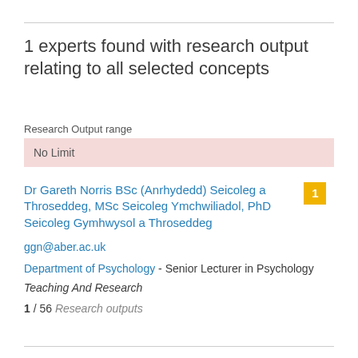1 experts found with research output relating to all selected concepts
Research Output range
No Limit
Dr Gareth Norris BSc (Anrhydedd) Seicoleg a Throseddeg, MSc Seicoleg Ymchwiliadol, PhD Seicoleg Gymhwysol a Throseddeg
ggn@aber.ac.uk
Department of Psychology - Senior Lecturer in Psychology
Teaching And Research
1 / 56 Research outputs